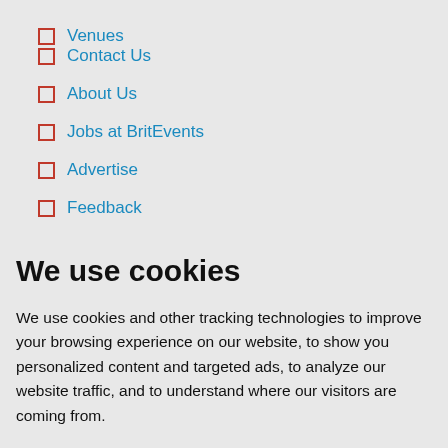Venues
Contact Us
About Us
Jobs at BritEvents
Advertise
Feedback
We use cookies
We use cookies and other tracking technologies to improve your browsing experience on our website, to show you personalized content and targeted ads, to analyze our website traffic, and to understand where our visitors are coming from.
I agree | Change my preferences